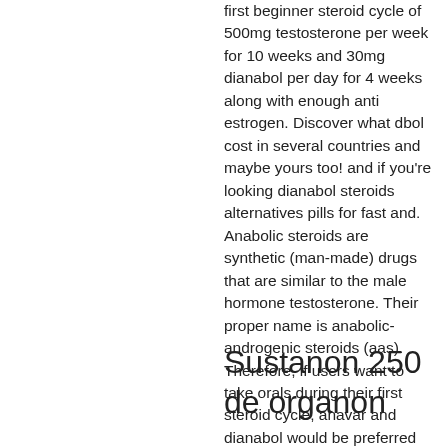first beginner steroid cycle of 500mg testosterone per week for 10 weeks and 30mg dianabol per day for 4 weeks along with enough anti estrogen. Discover what dbol cost in several countries and maybe yours too! and if you're looking dianabol steroids alternatives pills for fast and. Anabolic steroids are synthetic (man-made) drugs that are similar to the male hormone testosterone. Their proper name is anabolic-androgenic steroids (aas). Therefore, if users want to take orals during their first steroid cycle, anavar and dianabol would be preferred options. Dianabol 3 week cycle i really liked that your bog outlined several different examples of health care moving towards the digital world dianabol year round
Sustanon 250 de organon